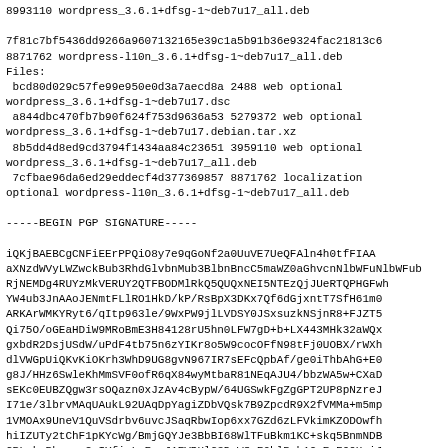8993110 wordpress_3.6.1+dfsg-1~deb7u17_all.deb

7f81c7bf5436dd9266a9607132165e39c1a5b91b36e9324fac21813c6
8871762 wordpress-l10n_3.6.1+dfsg-1~deb7u17_all.deb
Files:
 bcd80d029c57fe99e950e0d3a7aecd8a 2488 web optional
wordpress_3.6.1+dfsg-1~deb7u17.dsc
 a844dbc470fb7b90f624f753d9636a53 5279372 web optional
wordpress_3.6.1+dfsg-1~deb7u17.debian.tar.xz
 8b5dd4d8ed9cd3794f1434aa84c23651 3959110 web optional
wordpress_3.6.1+dfsg-1~deb7u17_all.deb
 7cfbae96da6ed29eddecf4d377369857 8871762 localization
optional wordpress-l10n_3.6.1+dfsg-1~deb7u17_all.deb

-----BEGIN PGP SIGNATURE-----

iQKjBAEBCgCNFiEErPPQiO8y7e9qGoNf2a0UuVE7UeQFAln4h0tfFIAA
aXNzdWVyLWZwckBub3RhdGlvbnMub3BlbnBncC5maWZ0aGhvcnNlbWFuNlbWFub
RjNEMDg4RUYzMkVERUY2QTFBODMlRkQ5QUQxNEI5NTEzQjJUeRTQPHGFwh
YW4ub3JnAAoJENmtFLlRO1HkD/kP/RsBpX3DKx7Qf6dGjxntT7SfH61m0
ARKArWMKYRyt6/qItp963le/9WxPW9jlLVDSY0JSxsuzkNSjnR8+FJZT5
Qi75O/oGEaHDiW9MRoBmE3H84128rU5hn0LFW7gD+b+LX443MHk32aWQx
gxbdR2DsjUSdW/uPdF4tb75n6zYIKr8o5W9cocOFfN98tFj0UOBX/rWXh
dlVWGpUiQKvKiOKrh3WhD9UG8gvN967IR7sEFcQpbAf/ge0iThbAhG+E0
g8J/HHz6SwleKhMmSVF0ofR6qX84wyMtbaR81NEqAJU4/bbzWA5w+CXaD
sEKc0EUBZQgw3rsOQazn0xJzAv4cBypW/64UGSwkFgZgGPT2UP8pNzreJ
I71e/3lbrvMAqUAukL92UAqDpYagiZDbVQsk7B9ZpcdR9X2fVMMa+m5mp
1VMOAx9UneV1QuVSdrbv6uvcJSaqRbwIop6xx7GZd6zLFVkimKZODOwfh
hiIZUTy2tChF1pKYcWg/BmjGQYJe3BbBI68WlTFuBkm1KC+skq5BnmNDB
CRLakrPbewmu2xIYfixLgFpxJ1EVBHlG3DmWSsF0hlPah12mExF9OHziJ
B2aJYXLo